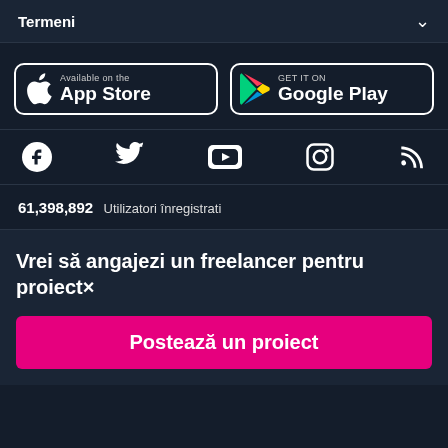Termeni
[Figure (screenshot): App Store and Google Play download buttons]
[Figure (screenshot): Social media icons row: Facebook, Twitter, YouTube, Instagram, RSS]
61,398,892 Utilizatori înregistrati
Vrei să angajezi un freelancer pentru proiect×
Postează un proiect